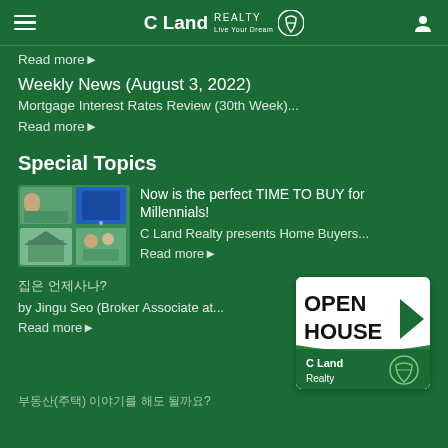C Land REALTY
Read more▶
Weekly News (August 3, 2022)
Mortgage Interest Rates Review (30th Week)...
Read more▶
Special Topics
[Figure (photo): Collage of people and mobile phone screens]
Now is the perfect TIME TO BUY for Millennials!
C Land Realty presents Home Buyers...
Read more▶
집은 언제사나?
by Jingu Seo (Broker Associate at...
Read more▶
[Figure (logo): Open House C Land Realty badge/sign]
부동산(주택) 이야기를 해도 될까요?